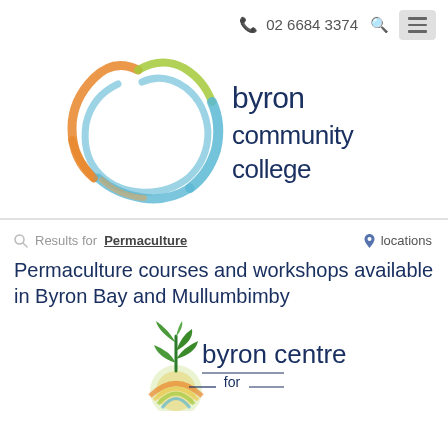02 6684 3374
[Figure (logo): Byron Community College logo with colorful circular brush stroke design and text 'byron community college']
Results for Permaculture — locations
Permaculture courses and workshops available in Byron Bay and Mullumbimby
[Figure (logo): Byron Centre for ... logo with plant/leaf illustration]